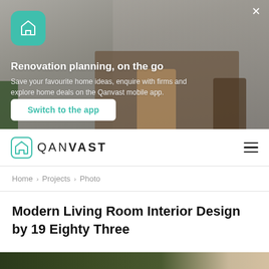[Figure (screenshot): App promotion banner with teal house icon, background photo of a dining room interior, close button X in top right corner]
Renovation planning, on the go
Save your favourite home ideas, enquire with firms and explore home deals on the Qanvast mobile app.
Switch to the app
[Figure (logo): Qanvast logo — teal house outline icon followed by QANVAST text in uppercase with VAST in bold]
Home › Projects › Photo
Modern Living Room Interior Design by 19 Eighty Three
[Figure (photo): Partial bottom strip of a living room interior photo]